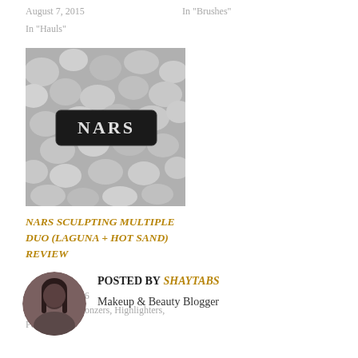August 7, 2015
In "Hauls"
In "Brushes"
[Figure (photo): NARS lip product on a rocky/pebble background]
NARS SCULPTING MULTIPLE DUO (LAGUNA + HOT SAND) REVIEW
August 18, 2016
In "Blushes, Bronzers, Highlighters, Powders"
[Figure (photo): Circular avatar photo of a woman with long dark hair]
POSTED BY SHAYTABS
Makeup & Beauty Blogger